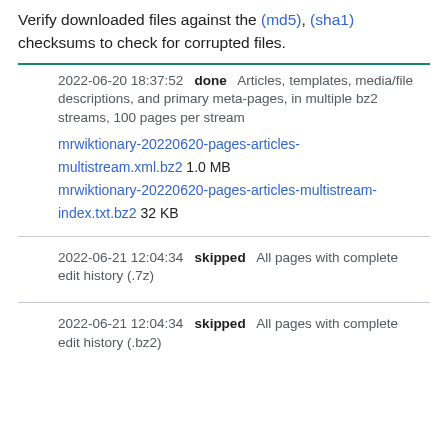Verify downloaded files against the (md5), (sha1) checksums to check for corrupted files.
2022-06-20 18:37:52  done  Articles, templates, media/file descriptions, and primary meta-pages, in multiple bz2 streams, 100 pages per stream
mrwiktionary-20220620-pages-articles-multistream.xml.bz2 1.0 MB
mrwiktionary-20220620-pages-articles-multistream-index.txt.bz2 32 KB
2022-06-21 12:04:34  skipped  All pages with complete edit history (.7z)
2022-06-21 12:04:34  skipped  All pages with complete edit history (.bz2)